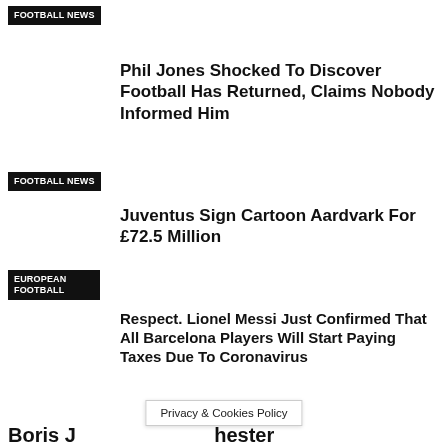FOOTBALL NEWS
Phil Jones Shocked To Discover Football Has Returned, Claims Nobody Informed Him
FOOTBALL NEWS
Juventus Sign Cartoon Aardvark For £72.5 Million
EUROPEAN FOOTBALL
Respect. Lionel Messi Just Confirmed That All Barcelona Players Will Start Paying Taxes Due To Coronavirus
EUROPEAN FOOTBALL
Football Manager Announces Coronavirus Update That Makes Game Unplayable Until April 30th
FOOTBALL MANAGER
Boris J ... hester
Privacy & Cookies Policy